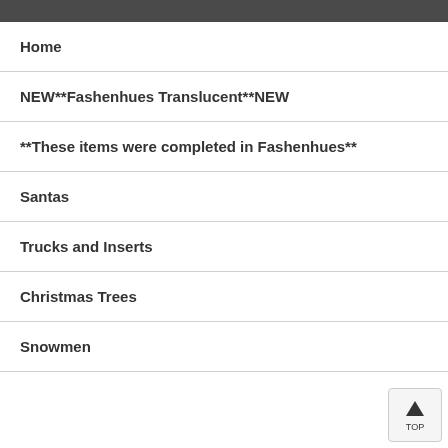Home
NEW**Fashenhues Translucent**NEW
**These items were completed in Fashenhues**
Santas
Trucks and Inserts
Christmas Trees
Snowmen